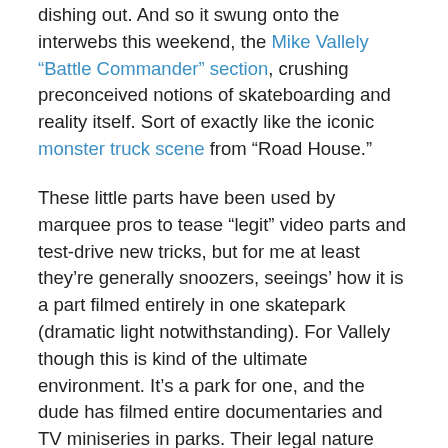dishing out. And so it swung onto the interwebs this weekend, the Mike Vallely “Battle Commander” section, crushing preconceived notions of skateboarding and reality itself. Sort of exactly like the iconic monster truck scene from “Road House.”

These little parts have been used by marquee pros to tease “legit” video parts and test-drive new tricks, but for me at least they’re generally snoozers, seeings’ how it is a part filmed entirely in one skatepark (dramatic light notwithstanding). For Vallely though this is kind of the ultimate environment. It’s a park for one, and the dude has filmed entire documentaries and TV miniseries in parks. Their legal nature provides him plenty of tries for the type of big jumps that get the kids on their feet, and the Berrics’ malleable format gives Vallely’s inner elephant plenty of room to swing its tattooed trunk and plant its broad feet